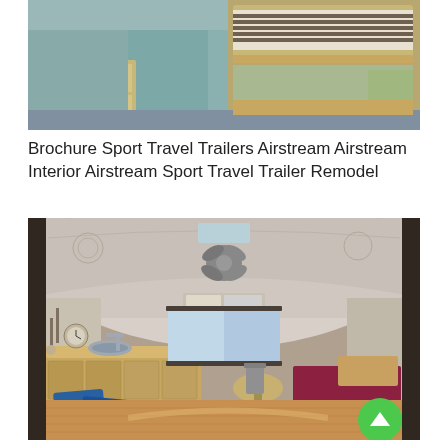[Figure (photo): Interior of an Airstream trailer bedroom showing bunk beds with striped bedding, light wood cabinetry, blue-teal walls, and gray carpet.]
Brochure Sport Travel Trailers Airstream Airstream Interior Airstream Sport Travel Trailer Remodel
[Figure (photo): Interior of a remodeled Airstream travel trailer showing curved aluminum ceiling with decorative fan, wood kitchen cabinetry, dining table, burgundy/red bench seating with blue throw pillows, and hardwood floor.]